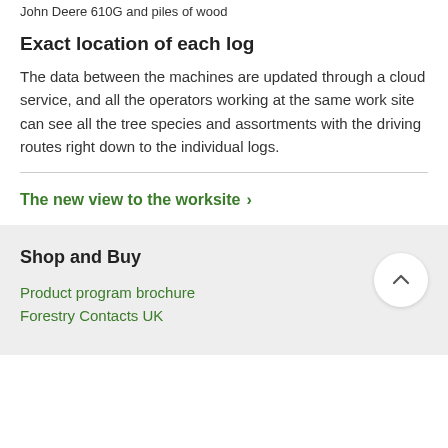John Deere 610G and piles of wood
Exact location of each log
The data between the machines are updated through a cloud service, and all the operators working at the same work site can see all the tree species and assortments with the driving routes right down to the individual logs.
The new view to the worksite ›
Shop and Buy
Product program brochure
Forestry Contacts UK